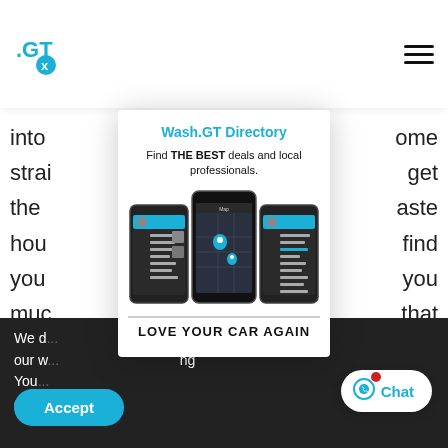[Figure (screenshot): Website header with GT logo and hamburger menu, overlaid popup modal for Wash.GT Directory app with three smartphone screenshots showing the app interface, and dark footer bar with text about the service. Accept and Chat buttons at bottom.]
Wash.GT Directory
Find THE BEST deals and local professionals.
LOVE YOUR CAR AGAIN
We d... on our w... You... ng or sw...
Accept
Chat